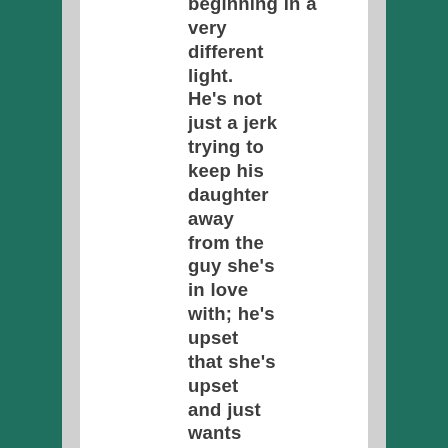beginning in a very different light. He's not just a jerk trying to keep his daughter away from the guy she's in love with; he's upset that she's upset and just wants her not to